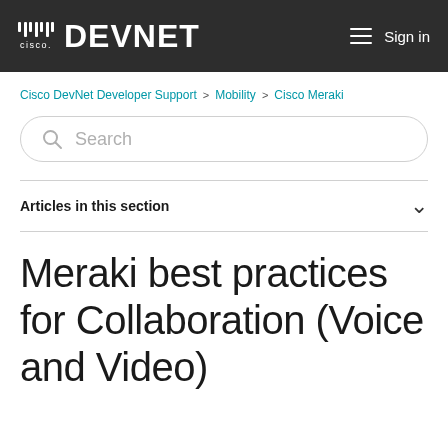Cisco DEVNET  Sign in
Cisco DevNet Developer Support > Mobility > Cisco Meraki
[Figure (screenshot): Search input field with magnifying glass icon and placeholder text 'Search']
Articles in this section
Meraki best practices for Collaboration (Voice and Video)